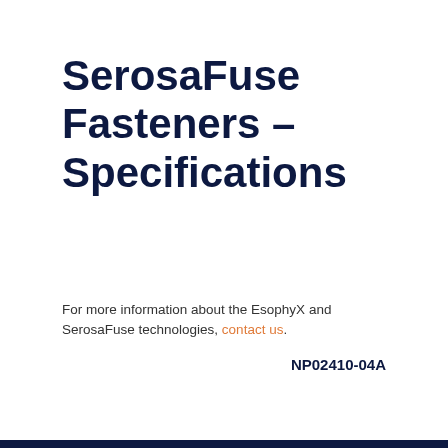SerosaFuse Fasteners – Specifications
For more information about the EsophyX and SerosaFuse technologies, contact us.
NP02410-04A